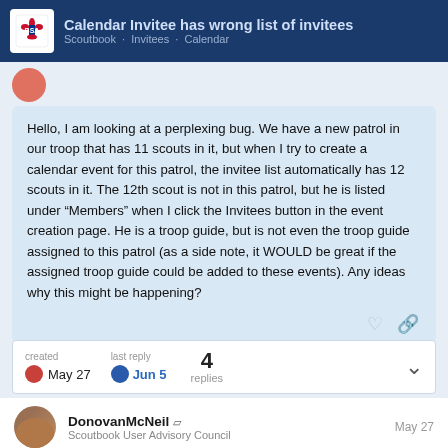Calendar Invitee has wrong list of invitees
Hello, I am looking at a perplexing bug. We have a new patrol in our troop that has 11 scouts in it, but when I try to create a calendar event for this patrol, the invitee list automatically has 12 scouts in it. The 12th scout is not in this patrol, but he is listed under “Members” when I click the Invitees button in the event creation page. He is a troop guide, but is not even the troop guide assigned to this patrol (as a side note, it WOULD be great if the assigned troop guide could be added to these events). Any ideas why this might be happening?
created May 27  last reply Jun 5  4 replies
DonovanMcNeil □ Scoutbook User Advisory Council  May 27